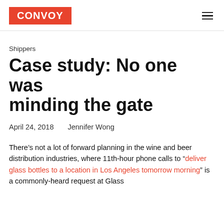CONVOY
Shippers
Case study: No one was minding the gate
April 24, 2018    Jennifer Wong
There’s not a lot of forward planning in the wine and beer distribution industries, where 11th-hour phone calls to “deliver glass bottles to a location in Los Angeles tomorrow morning” is a commonly-heard request at Glass